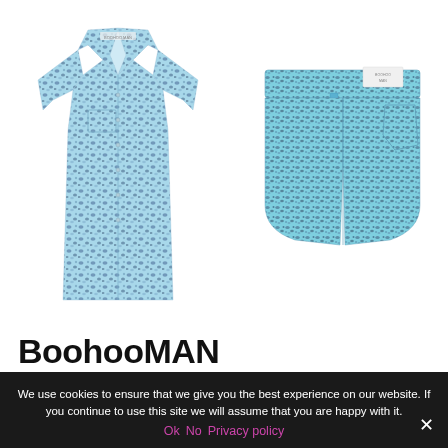[Figure (photo): Two clothing items with blue floral/abstract print pattern: a short-sleeve camp collar shirt on the left, and swim shorts on the right, both with matching blue and dark speckled print pattern, on white background.]
BoohooMAN
We use cookies to ensure that we give you the best experience on our website. If you continue to use this site we will assume that you are happy with it.
Ok   No   Privacy policy